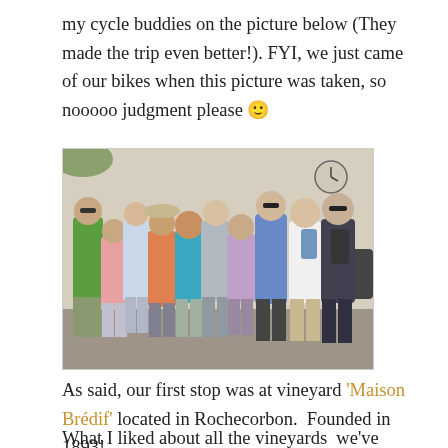my cycle buddies on the picture below (They made the trip even better!). FYI, we just came of our bikes when this picture was taken, so nooooo judgment please 🙂
[Figure (photo): Group photo of approximately 10 people standing together on a street, outdoors in sunny weather. They are dressed in casual summer clothes. A clock is visible on a building in the background.]
As said, our first stop was at vineyard 'Maison Brédif' located in Rochecorbon.  Founded in 1893!
What I liked about all the vineyards  we've visited (also